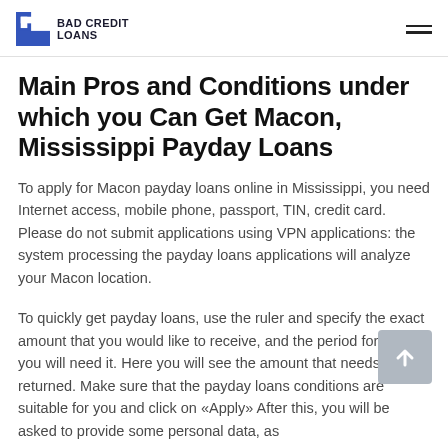BAD CREDIT LOANS
Main Pros and Conditions under which you Can Get Macon, Mississippi Payday Loans
To apply for Macon payday loans online in Mississippi, you need Internet access, mobile phone, passport, TIN, credit card. Please do not submit applications using VPN applications: the system processing the payday loans applications will analyze your Macon location.
To quickly get payday loans, use the ruler and specify the exact amount that you would like to receive, and the period for which you will need it. Here you will see the amount that needs to be returned. Make sure that the payday loans conditions are suitable for you and click on «Apply» After this, you will be asked to provide some personal data, as